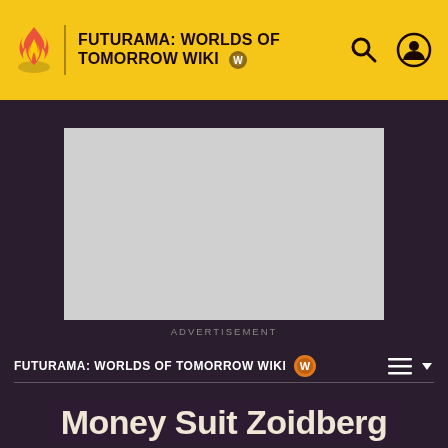FUTURAMA: WORLDS OF TOMORROW WIKI
[Figure (screenshot): Advertisement placeholder — grey rectangle]
ADVERTISEMENT
FUTURAMA: WORLDS OF TOMORROW WIKI
Money Suit Zoidberg
EDIT